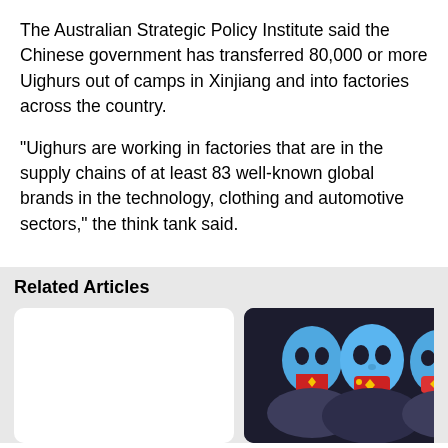The Australian Strategic Policy Institute said the Chinese government has transferred 80,000 or more Uighurs out of camps in Xinjiang and into factories across the country.
“Uighurs are working in factories that are in the supply chains of at least 83 well-known global brands in the technology, clothing and automotive sectors,” the think tank said.
Related Articles
[Figure (photo): White card placeholder for a related article thumbnail]
[Figure (photo): Photo showing three people wearing blue Uighur-themed masks with Chinese flag motif over the mouth area, used in a protest context]